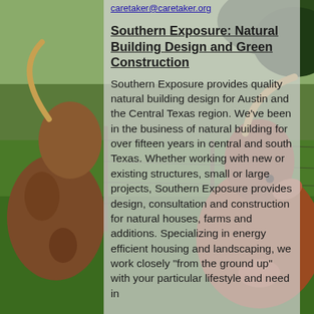[Figure (photo): Photograph of longhorn cattle near a wire fence in a green pasture, with trees in the background. Serves as a full-page background image.]
caretaker@caretaker.org
Southern Exposure: Natural Building Design and Green Construction
Southern Exposure provides quality natural building design for Austin and the Central Texas region. We’ve been in the business of natural building for over fifteen years in central and south Texas. Whether working with new or existing structures, small or large projects, Southern Exposure provides design, consultation and construction for natural houses, farms and additions. Specializing in energy efficient housing and landscaping, we work closely “from the ground up” with your particular lifestyle and need in